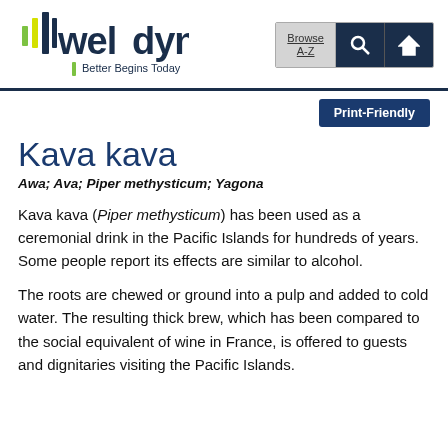[Figure (logo): WellDyne logo with tagline 'Better Begins Today' and navigation buttons Browse A-Z, search icon, home icon]
Print-Friendly
Kava kava
Awa; Ava; Piper methysticum; Yagona
Kava kava (Piper methysticum) has been used as a ceremonial drink in the Pacific Islands for hundreds of years. Some people report its effects are similar to alcohol.
The roots are chewed or ground into a pulp and added to cold water. The resulting thick brew, which has been compared to the social equivalent of wine in France, is offered to guests and dignitaries visiting the Pacific Islands.